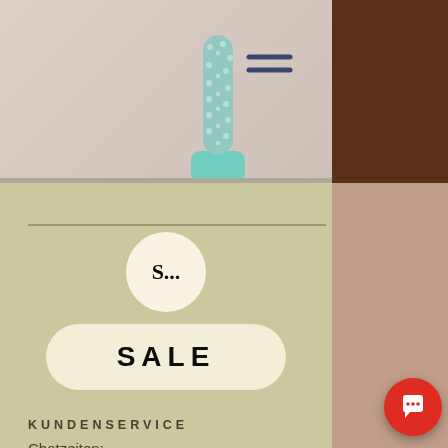[Figure (screenshot): Top navigation bar with cactus plant illustration and hamburger menu icon on a beige/brown background]
[Figure (illustration): Circle avatar with text 'S...' and a pill-shaped button labeled 'SALE']
KUNDENSERVICE
Chatzeiten:
Montag bis Freitag
08 Uhr bis 18 Uhr